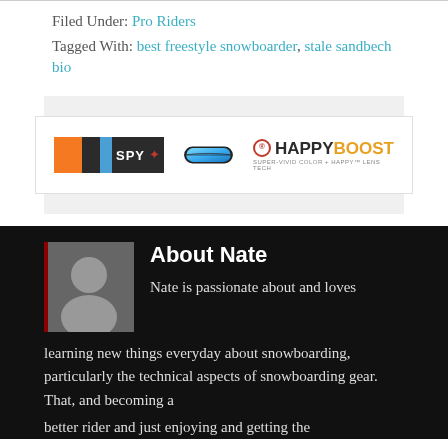Filed Under: Pro Riders
Tagged With: best freestyle snowboarder, stale sandbech bio
[Figure (logo): SPY+ goggles advertisement showing SPY+ logo, a pair of blue-mirrored ski goggles, and Happy Boost branding with 'Super-Vivid Color + Happy Lens Tech' tagline]
About Nate
Nate is passionate about and loves learning new things everyday about snowboarding, particularly the technical aspects of snowboarding gear. That, and becoming a better rider and just enjoying and getting the